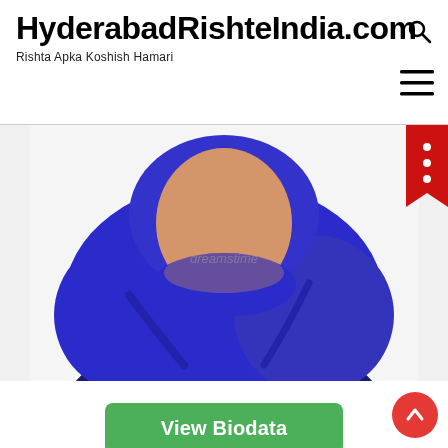HyderabadRishteIndia.com
Rishta Apka Koshish Hamari
[Figure (illustration): Illustration of a woman wearing a blue hijab, shown from shoulders up with no facial features, partially cropped. Dreamstine watermark visible in center.]
View Biodata